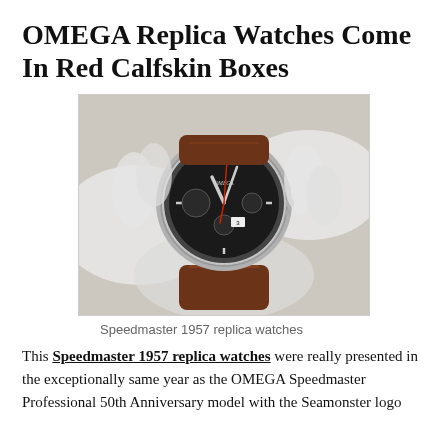OMEGA Replica Watches Come In Red Calfskin Boxes
[Figure (photo): Omega Speedmaster 1957 replica watch with black dial, tachymetre bezel, red chronograph hand, and brown leather strap, held in gloved white hands against a light background.]
Speedmaster 1957 replica watches
This Speedmaster 1957 replica watches were really presented in the exceptionally same year as the OMEGA Speedmaster Professional 50th Anniversary model with the Seamonster logo